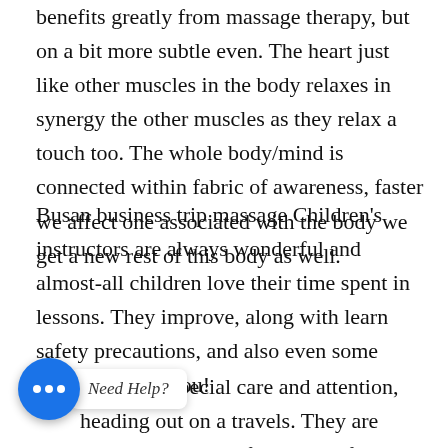benefits greatly from massage therapy, but on a bit more subtle even. The heart just like other muscles in the body relaxes in synergy the other muscles as they relax a touch too. The whole body/mind is connected within fabric of awareness, faster we affect one associated with the body we get a new rest of this body as well.
Busan business trip massage Children’s instructors are always wonderful and almost-all children love their time spent in lessons. They improve, along with learn safety precautions, and also even some tricks to coach you!
Your feet need special care and attention, especially heading out on a travels. They are certain to lose interest after hours of
[Figure (other): Chat widget with blue circular button showing three dots, and a tooltip saying 'Need Help?' in cursive font]